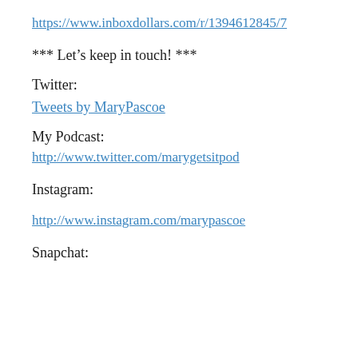https://www.inboxdollars.com/r/1394612845/7
*** Let's keep in touch! ***
Twitter:
Tweets by MaryPascoe
My Podcast:
http://www.twitter.com/marygetsitpod
Instagram:
http://www.instagram.com/marypascoe
Snapchat: